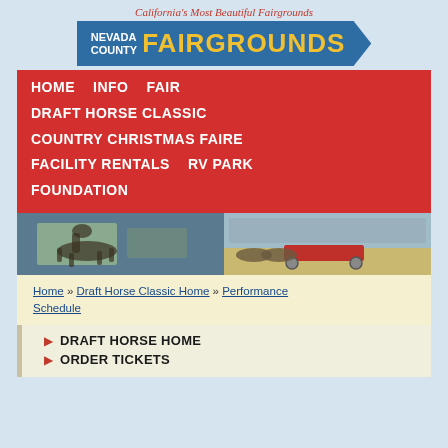California's Most Beautiful Fairgrounds
[Figure (logo): Nevada County Fairgrounds logo — blue banner badge with NEVADA COUNTY in white and FAIRGROUNDS in yellow bold text]
HOME   INFO   FAIR
DRAFT HORSE CLASSIC
COUNTRY CHRISTMAS FAIRE
FACILITY RENTALS   RV PARK
FOUNDATION
[Figure (photo): Two side-by-side photos of draft horse events at the fairgrounds arena: left photo shows a horse and rider performing, right photo shows a team of horses pulling a red wagon in front of a packed grandstand]
Home » Draft Horse Classic Home » Performance Schedule
DRAFT HORSE HOME
ORDER TICKETS